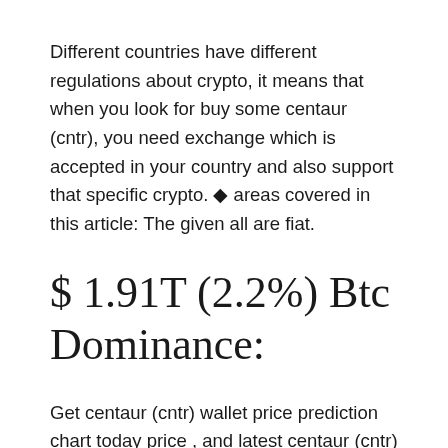Different countries have different regulations about crypto, it means that when you look for buy some centaur (cntr), you need exchange which is accepted in your country and also support that specific crypto. ♦ areas covered in this article: The given all are fiat.
$ 1.91T (2.2%) Btc Dominance:
Get centaur (cntr) wallet price prediction chart today price , and latest centaur (cntr) wallet price prediction. It has a circulating supply of